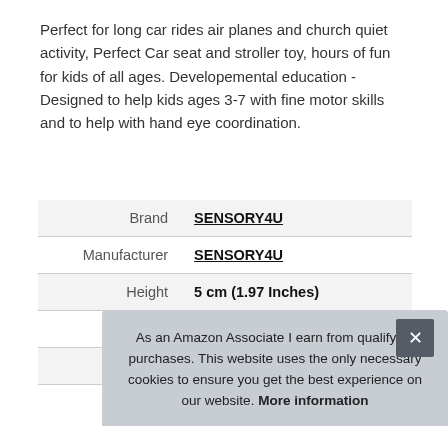Perfect for long car rides air planes and church quiet activity, Perfect Car seat and stroller toy, hours of fun for kids of all ages. Developemental education - Designed to help kids ages 3-7 with fine motor skills and to help with hand eye coordination.
| Brand | SENSORY4U |
| Manufacturer | SENSORY4U |
| Height | 5 cm (1.97 Inches) |
| Length | 16 cm (6.3 Inches) |
| P |  |
As an Amazon Associate I earn from qualifying purchases. This website uses the only necessary cookies to ensure you get the best experience on our website. More information